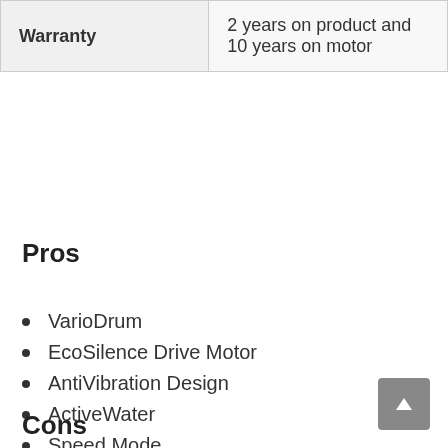| Warranty | 2 years on product and 10 years on motor |
Pros
VarioDrum
EcoSilence Drive Motor
AntiVibration Design
ActiveWater
Speed Mode
Time Delay
3D aqua spa
Cons